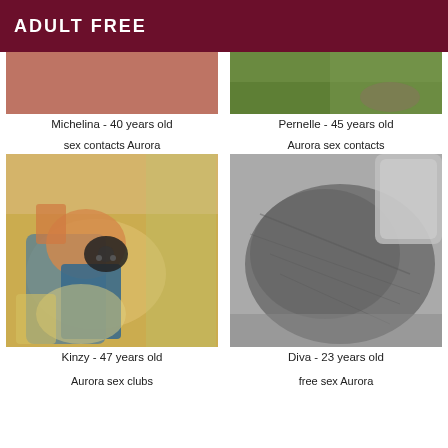ADULT FREE
Michelina - 40 years old
Pernelle - 45 years old
sex contacts Aurora
Aurora sex contacts
[Figure (photo): Photo of Kinzy, a person, warmly colored image]
[Figure (photo): Photo of Diva, black and white image of a person]
Kinzy - 47 years old
Diva - 23 years old
Aurora sex clubs
free sex Aurora